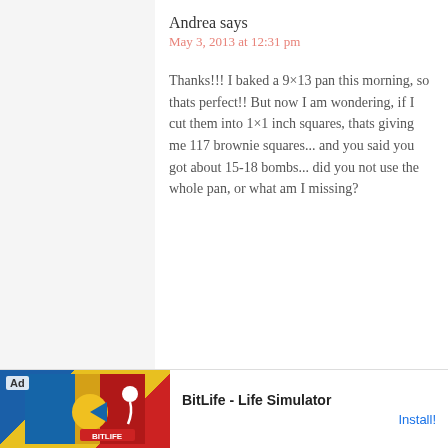Andrea says
May 3, 2013 at 12:31 pm
Thanks!!! I baked a 9×13 pan this morning, so thats perfect!! But now I am wondering, if I cut them into 1×1 inch squares, thats giving me 117 brownie squares... and you said you got about 15-18 bombs... did you not use the whole pan, or what am I missing?
[Figure (screenshot): Advertisement for BitLife - Life Simulator app with Install button]